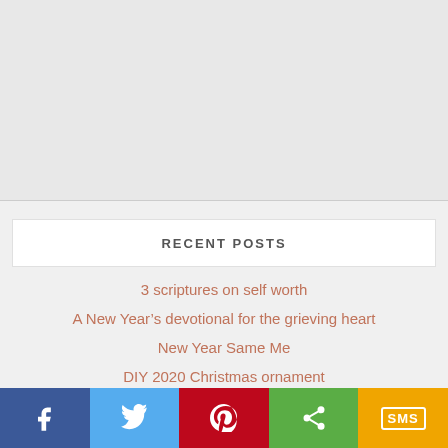[Figure (other): Large light gray placeholder image area at the top of the page]
RECENT POSTS
3 scriptures on self worth
A New Year’s devotional for the grieving heart
New Year Same Me
DIY 2020 Christmas ornament
[Figure (infographic): Social share bar at the bottom with Facebook, Twitter, Pinterest, Share, and SMS buttons]